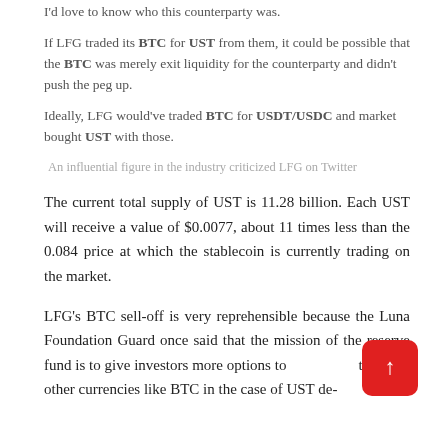I'd love to know who this counterparty was.
If LFG traded its BTC for UST from them, it could be possible that the BTC was merely exit liquidity for the counterparty and didn't push the peg up.
Ideally, LFG would've traded BTC for USDT/USDC and market bought UST with those.
An influential figure in the industry criticized LFG on Twitter
The current total supply of UST is 11.28 billion. Each UST will receive a value of $0.0077, about 11 times less than the 0.084 price at which the stablecoin is currently trading on the market.
LFG's BTC sell-off is very reprehensible because the Luna Foundation Guard once said that the mission of the reserve fund is to give investors more options to convert UST to other currencies like BTC in the case of UST de-